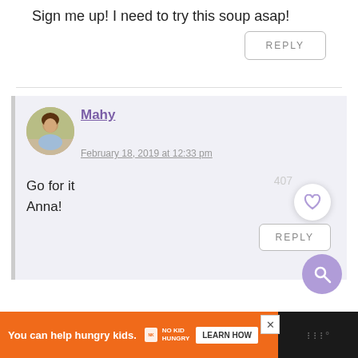Sign me up! I need to try this soup asap!
[Figure (other): Reply button (bordered rectangle with text REPLY)]
[Figure (other): Comment block with user avatar photo (Mahy), username, date, comment text, like count, heart button, reply button, search button]
Mahy
February 18, 2019 at 12:33 pm
Go for it Anna!
[Figure (other): Advertisement bar: orange background with 'You can help hungry kids.' text, No Kid Hungry logo, LEARN HOW button, close X button, dark section with watermark logo]